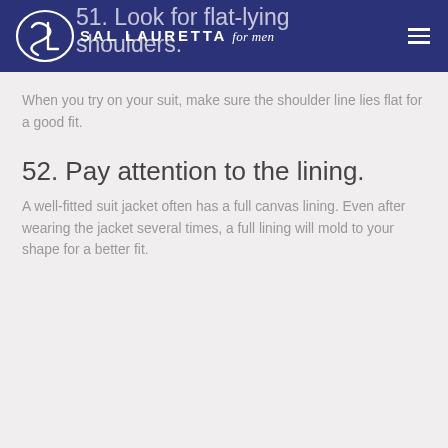Sal Lauretta for men
51. Look for flat-lying shoulders.
When you try on your suit, make sure the shoulder line lies flat for a good fit.
52. Pay attention to the lining.
A well-fitted suit jacket often has a full canvas lining. Even after wearing the jacket several times, a full lining will mold to your shape for a better fit.